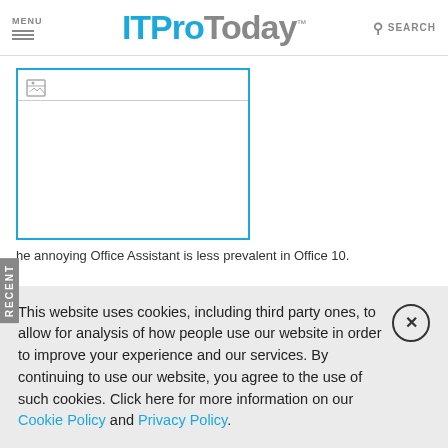MENU | ITPro Today™ | SEARCH
[Figure (photo): Broken image placeholder with blue border, showing a small broken image icon in the top-left corner and a horizontal divider line below it.]
he annoying Office Assistant is less prevalent in Office 10.
This website uses cookies, including third party ones, to allow for analysis of how people use our website in order to improve your experience and our services. By continuing to use our website, you agree to the use of such cookies. Click here for more information on our Cookie Policy and Privacy Policy.